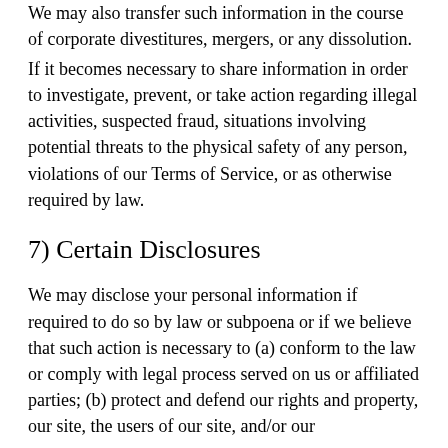We may also transfer such information in the course of corporate divestitures, mergers, or any dissolution.
If it becomes necessary to share information in order to investigate, prevent, or take action regarding illegal activities, suspected fraud, situations involving potential threats to the physical safety of any person, violations of our Terms of Service, or as otherwise required by law.
7) Certain Disclosures
We may disclose your personal information if required to do so by law or subpoena or if we believe that such action is necessary to (a) conform to the law or comply with legal process served on us or affiliated parties; (b) protect and defend our rights and property, our site, the users of our site, and/or our affiliates (including enforcement); (c) act under circumstances to protect the safety of users of our site.